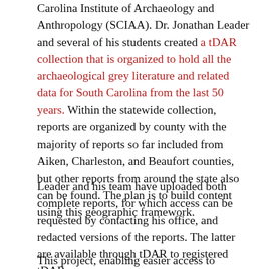Carolina Institute of Archaeology and Anthropology (SCIAA). Dr. Jonathan Leader and several of his students created a tDAR collection that is organized to hold all the archaeological grey literature and related data for South Carolina from the last 50 years. Within the statewide collection, reports are organized by county with the majority of reports so far included from Aiken, Charleston, and Beaufort counties, but other reports from around the state also can be found. The plan is to build content using this geographic framework.
Leader and his team have uploaded both complete reports, for which access can be requested by contacting his office, and redacted versions of the reports. The latter are available through tDAR to registered tDAR users.
This project, enabling easier access to archaeological